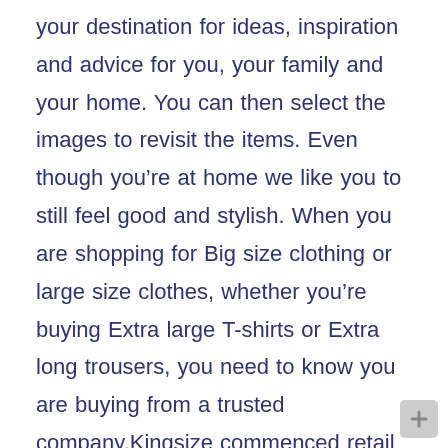your destination for ideas, inspiration and advice for you, your family and your home. You can then select the images to revisit the items. Even though you're at home we like you to still feel good and stylish. When you are shopping for Big size clothing or large size clothes, whether you're buying Extra large T-shirts or Extra long trousers, you need to know you are buying from a trusted company.Kingsize commenced retail trading in 1972 and were the 1st Big & Tall store in the Southern Hemisphere to start an online store. You have reached your limit of 0 items. Dressing challenges for tall women. Not already logged in? Plain fleece dressing gown by Bigdude, Must have for any wardrobe this winter!, Tie Belt, Two front hand pockets,